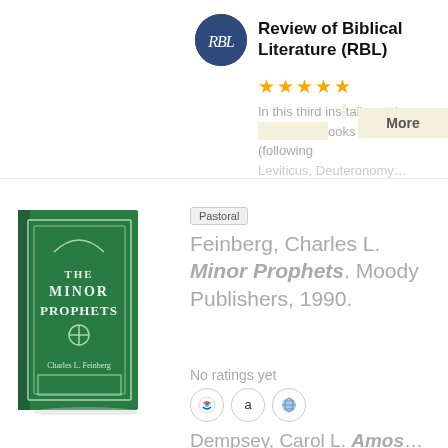[Figure (logo): Review of Biblical Literature (RBL) circular dark blue logo with cursive RBL initials]
Review of Biblical Literature (RBL)
★★★★★
In this third installment in a … books from Baker (following Leviticus, Deuteronomy…
More
[Figure (photo): Book cover: THE MINOR PROPHETS by Charles L. Feinberg, green hardcover]
Pastoral
Feinberg, Charles L. Minor Prophets. Moody Publishers, 1990.
No ratings yet
Dempsey, Carol L. Amos…